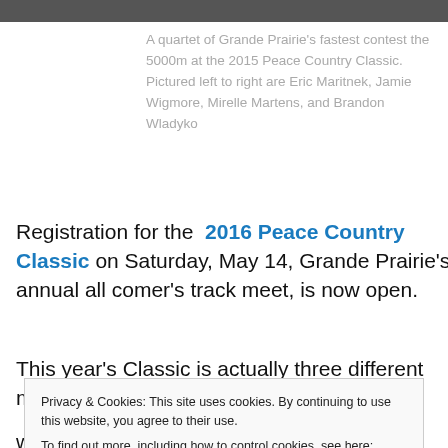[Figure (photo): Top portion of a photo showing runners at a track meet, cropped at top of page]
A quartet of Grande Prairie's fastest contest the 5000m at the 2015 Peace Country Classic. Pictured left to right are Eric Maritnek, Jamie Wigmore, Mirelle Martens, and Brandon Wladyko
Registration for the 2016 Peace Country Classic on Saturday, May 14, Grande Prairie's annual all comer's track meet, is now open.
This year's Classic is actually three different meets in one
Privacy & Cookies: This site uses cookies. By continuing to use this website, you agree to their use.
To find out more, including how to control cookies, see here: Cookie Policy
who wish to try out for the Alberta Summer Games